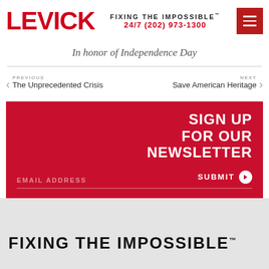LEVICK — FIXING THE IMPOSSIBLE™ 24/7 (202) 973-1300
In honor of Independence Day
PREVIOUS
The Unprecedented Crisis
NEXT
Save American Heritage
SIGN UP FOR OUR NEWSLETTER
EMAIL ADDRESS
SUBMIT
FIXING THE IMPOSSIBLE™